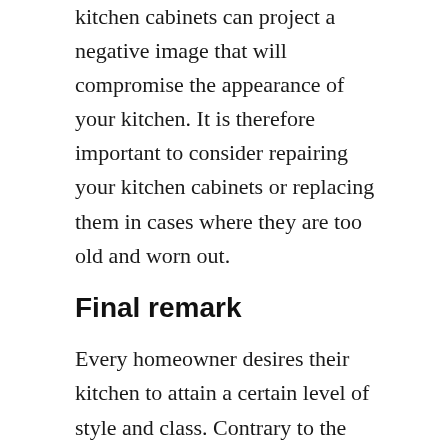kitchen cabinets can project a negative image that will compromise the appearance of your kitchen. It is therefore important to consider repairing your kitchen cabinets or replacing them in cases where they are too old and worn out.
Final remark
Every homeowner desires their kitchen to attain a certain level of style and class. Contrary to the popular assumption that kitchen remodeling is an expensive project, with the right approach and knowledge, a kitchen renovation can turn out to be an affordable project that goes a long way to increasing the value of your home. In any case, you are stuck on how to execute your kitchen remodel project, you may consider hiring one of the